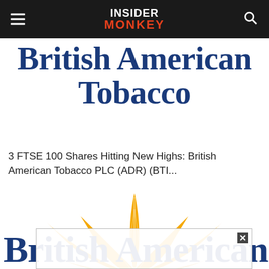INSIDER MONKEY
British American Tobacco
3 FTSE 100 Shares Hitting New Highs: British American Tobacco PLC (ADR) (BTI...
[Figure (logo): British American Tobacco golden leaf logo — stylized golden/amber lotus-like leaf arrangement]
[Figure (logo): Partial British American Tobacco logo text visible at bottom of page behind overlay box]